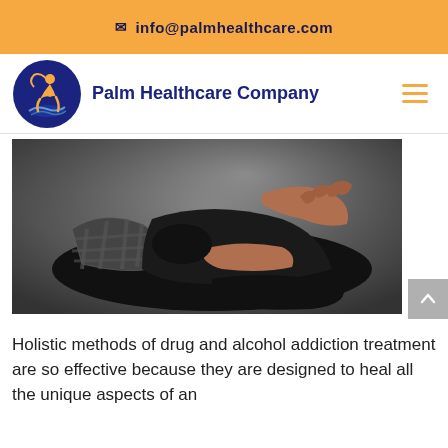info@palmhealthcare.com
[Figure (logo): Palm Healthcare Company logo with blue circle containing orange figure and text 'Palm Healthcare Company']
[Figure (photo): A person curled up in distress, head buried in arms, dark clothing, dark background suggesting suffering or addiction]
Holistic methods of drug and alcohol addiction treatment are so effective because they are designed to heal all the unique aspects of an